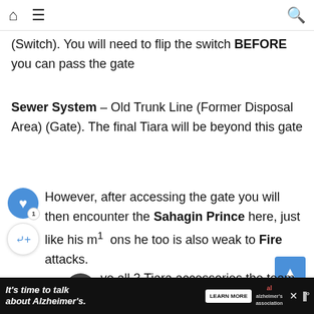Navigation bar with home icon, menu icon, and search icon
(Switch). You will need to flip the switch BEFORE you can pass the gate
Sewer System – Old Trunk Line (Former Disposal Area) (Gate). The final Tiara will be beyond this gate
However, after accessing the gate you will then encounter the Sahagin Prince here, just like his minions he too is also weak to Fire attacks.
ve all 3 Tiara accessories the team will decide to report back to Marle and tell her of your find
Advertisement: It's time to talk about Alzheimer's. LEARN MORE